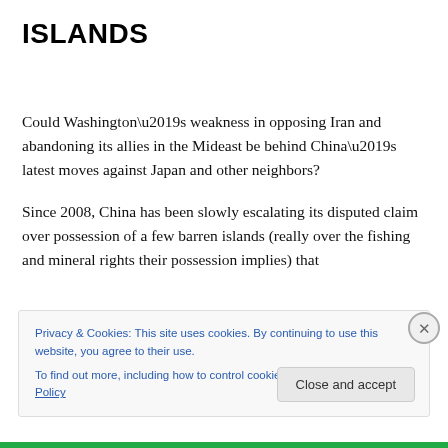ISLANDS
Could Washington’s weakness in opposing Iran and abandoning its allies in the Mideast be behind China’s latest moves against Japan and other neighbors?
Since 2008, China has been slowly escalating its disputed claim over possession of a few barren islands (really over the fishing and mineral rights their possession implies) that
Privacy & Cookies: This site uses cookies. By continuing to use this website, you agree to their use.
To find out more, including how to control cookies, see here: Cookie Policy
Close and accept